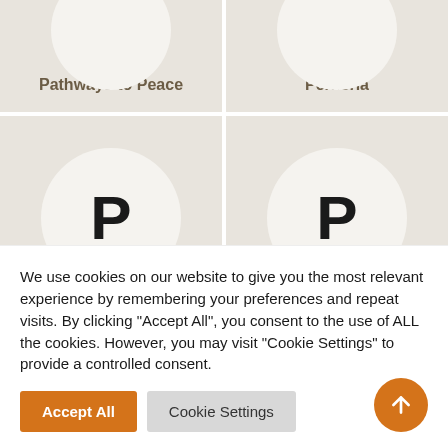[Figure (illustration): Card with partial circle at top showing 'Pathways to Peace' label]
[Figure (illustration): Card with partial circle at top showing 'Periferia' label]
[Figure (illustration): Card with full circle showing letter P and label 'PLANACT']
[Figure (illustration): Card with full circle showing letter P and label 'Planners Network']
We use cookies on our website to give you the most relevant experience by remembering your preferences and repeat visits. By clicking "Accept All", you consent to the use of ALL the cookies. However, you may visit "Cookie Settings" to provide a controlled consent.
Accept All
Cookie Settings